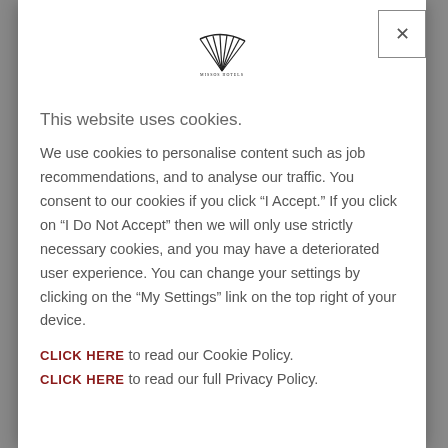[Figure (logo): Hotel logo with fan/shell shape and text below]
This website uses cookies.
We use cookies to personalise content such as job recommendations, and to analyse our traffic. You consent to our cookies if you click “I Accept.” If you click on “I Do Not Accept” then we will only use strictly necessary cookies, and you may have a deteriorated user experience. You can change your settings by clicking on the “My Settings” link on the top right of your device.
CLICK HERE to read our Cookie Policy.
CLICK HERE to read our full Privacy Policy.